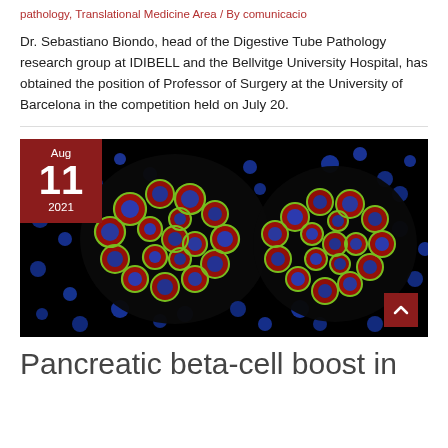pathology, Translational Medicine Area / By comunicacio
Dr. Sebastiano Biondo, head of the Digestive Tube Pathology research group at IDIBELL and the Bellvitge University Hospital, has obtained the position of Professor of Surgery at the University of Barcelona in the competition held on July 20.
[Figure (photo): Fluorescence microscopy image showing two organoid clusters with green cell outlines, red and blue nuclei/cellular components against a black background. Date badge overlay shows Aug 11 2021.]
Pancreatic beta-cell boost in